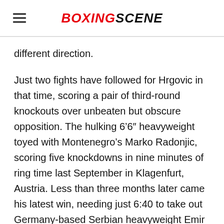BOXINGSCENE
different direction.
Just two fights have followed for Hrgovic in that time, scoring a pair of third-round knockouts over unbeaten but obscure opposition. The hulking 6’6″ heavyweight toyed with Montenegro’s Marko Radonjic, scoring five knockdowns in nine minutes of ring time last September in Klagenfurt, Austria. Less than three months later came his latest win, needing just 6:40 to take out Germany-based Serbian heavyweight Emir Ahmatovic last December in Las Vegas. The win extended Hrgovic’s current seven-fight knockout streak, while having yet to be extended past eight